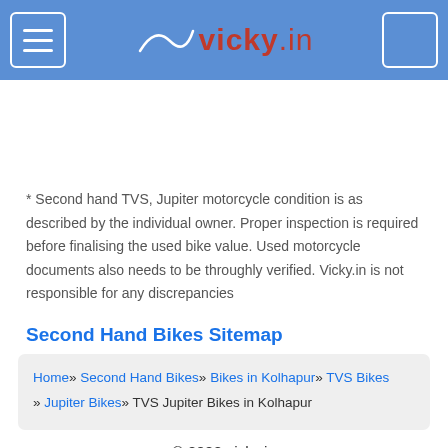vicky.in header navigation bar
* Second hand TVS, Jupiter motorcycle condition is as described by the individual owner. Proper inspection is required before finalising the used bike value. Used motorcycle documents also needs to be throughly verified. Vicky.in is not responsible for any discrepancies
Second Hand Bikes Sitemap
Home» Second Hand Bikes» Bikes in Kolhapur» TVS Bikes » Jupiter Bikes» TVS Jupiter Bikes in Kolhapur
© 2022 vicky.in